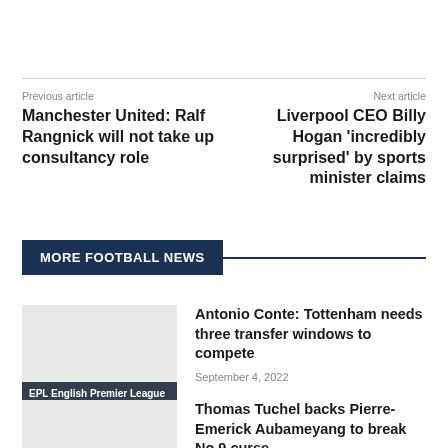Previous article
Manchester United: Ralf Rangnick will not take up consultancy role
Next article
Liverpool CEO Billy Hogan 'incredibly surprised' by sports minister claims
MORE FOOTBALL NEWS
Antonio Conte: Tottenham needs three transfer windows to compete
September 4, 2022
EPL English Premier League
Thomas Tuchel backs Pierre-Emerick Aubameyang to break No 9 curse